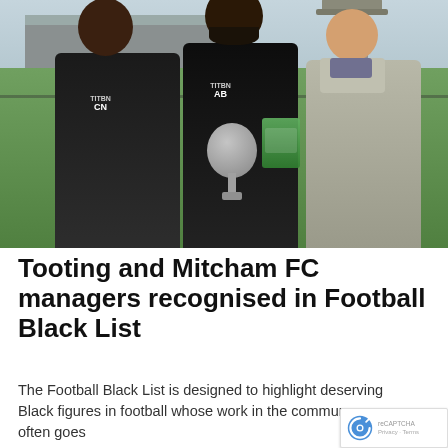[Figure (photo): Three people standing on a football pitch sideline. Two men in black jackets with initials 'CN' and 'AB' on their chests, holding glass trophies/awards, and a woman in a grey coat wearing a grey cap. A football stand and green pitch are visible in the background.]
Tooting and Mitcham FC managers recognised in Football Black List
The Football Black List is designed to highlight deserving Black figures in football whose work in the community often goes...